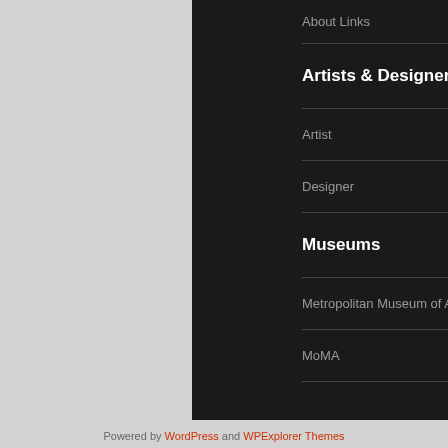About Links
Artists & Designers
Artist
Designer
Museums
Metropolitan Museum of Art
MoMA
Powered by WordPress and WPExplorer Themes